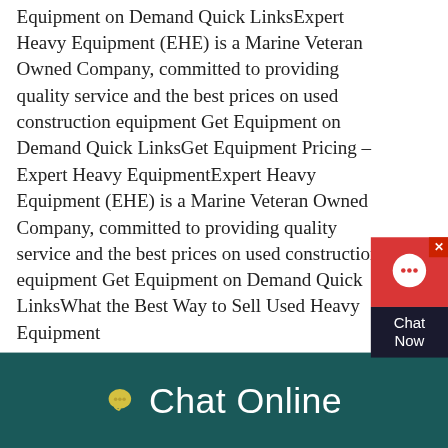Equipment on Demand Quick LinksExpert Heavy Equipment (EHE) is a Marine Veteran Owned Company, committed to providing quality service and the best prices on used construction equipment Get Equipment on Demand Quick LinksGet Equipment Pricing – Expert Heavy EquipmentExpert Heavy Equipment (EHE) is a Marine Veteran Owned Company, committed to providing quality service and the best prices on used construction equipment Get Equipment on Demand Quick LinksWhat the Best Way to Sell Used Heavy Equipment
[Figure (photo): Outdoor photo of a mining or quarry site with a large blue conveyor belt, processing equipment, a white building, red/orange earth, and forested hills in the background.]
How Can You
Chat Online